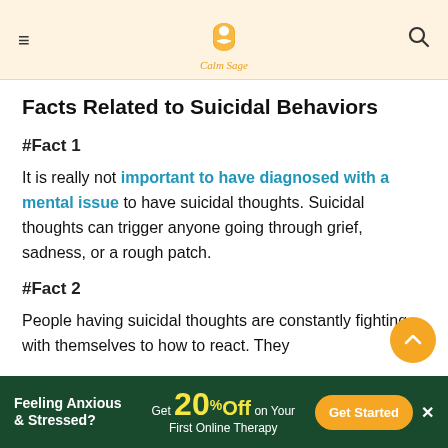Calm Sage
Facts Related to Suicidal Behaviors
#Fact 1
It is really not important to have diagnosed with a mental issue to have suicidal thoughts. Suicidal thoughts can trigger anyone going through grief, sadness, or a rough patch.
#Fact 2
People having suicidal thoughts are constantly fighting with themselves to how to react. They
Feeling Anxious & Stressed? Get 20% Off on Your First Online Therapy. Get Started.